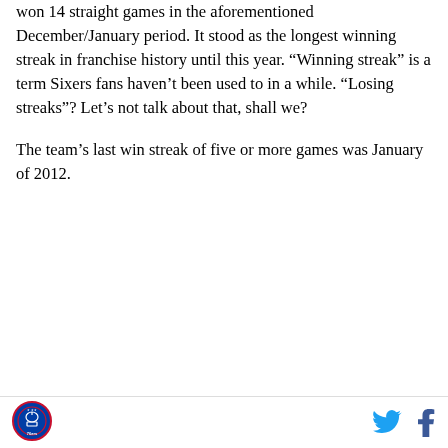won 14 straight games in the aforementioned December/January period. It stood as the longest winning streak in franchise history until this year. “Winning streak” is a term Sixers fans haven’t been used to in a while. “Losing streaks”? Let’s not talk about that, shall we?
The team’s last win streak of five or more games was January of 2012.
[Figure (logo): Philadelphia 76ers circular logo in blue]
Twitter and Facebook social share icons